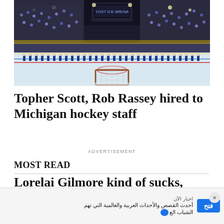[Figure (photo): Ice hockey arena with a full team lineup on the ice facing a hockey net. The rink is full of spectators in the stands. Photo taken from the center ice perspective looking toward one end of the rink.]
Topher Scott, Rob Rassey hired to Michigan hockey staff
ADVERTISEMENT
MOST READ
Lorelai Gilmore kind of sucks, and it's time we talk about it
[Figure (screenshot): Mobile advertisement banner in Arabic. Shows 'اخبار الآن' source label, Arabic text about latest Arabic and world news stories, and a blue 'فتح' (Open) button. There is an X close button in the top right corner.]